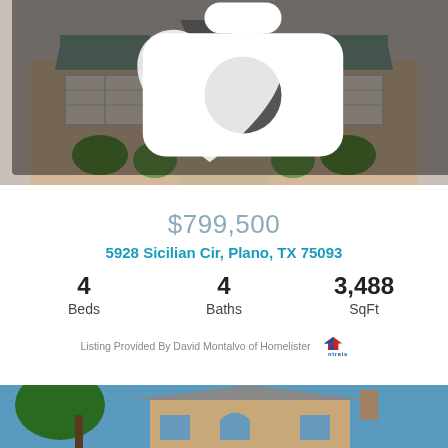[Figure (photo): Front exterior of a large brick home with decorative copper roof turrets, arched entry, plantation shutters, and manicured shrubs]
📷 36
$799,500
5928 Sicilian Cir, Plano, TX 75093
4 Beds
4 Baths
3,488 SqFt
Listing Provided By David Montalvo of Homelister ntreis
[Figure (photo): Front exterior of a large two-story brick home with arched windows and chimney under blue sky]